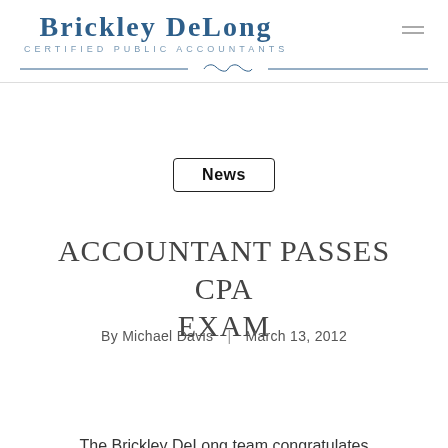Brickley DeLong — Certified Public Accountants
News
ACCOUNTANT PASSES CPA EXAM
By Michael Davis | March 13, 2012
The Brickley DeLong team congratulates